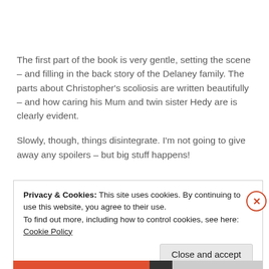The first part of the book is very gentle, setting the scene – and filling in the back story of the Delaney family.  The parts about Christopher's scoliosis are written beautifully – and how caring his Mum and twin sister Hedy are is clearly evident.
Slowly, though, things disintegrate.  I'm not going to give away any spoilers – but big stuff happens!
Privacy & Cookies: This site uses cookies. By continuing to use this website, you agree to their use.
To find out more, including how to control cookies, see here: Cookie Policy
Close and accept